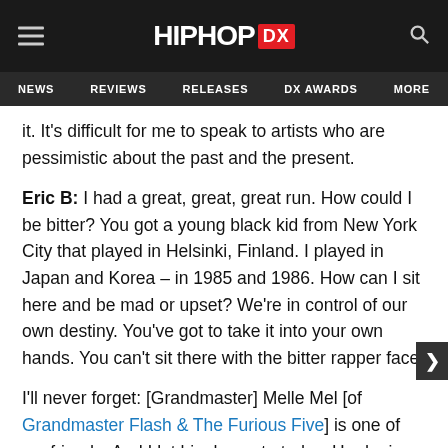HIPHOP DX — NEWS | REVIEWS | RELEASES | DX AWARDS | MORE
it. It's difficult for me to speak to artists who are pessimistic about the past and the present.
Eric B: I had a great, great, great run. How could I be bitter? You got a young black kid from New York City that played in Helsinki, Finland. I played in Japan and Korea – in 1985 and 1986. How can I sit here and be mad or upset? We're in control of our own destiny. You've got to take it into your own hands. You can't sit there with the bitter rapper face.
I'll never forget: [Grandmaster] Melle Mel [of Grandmaster Flash & The Furious Five] is one of my friends. And I let him have, to today. He denies this story all the way. It was Melle Mel, Grandmaster Caz, Afrika